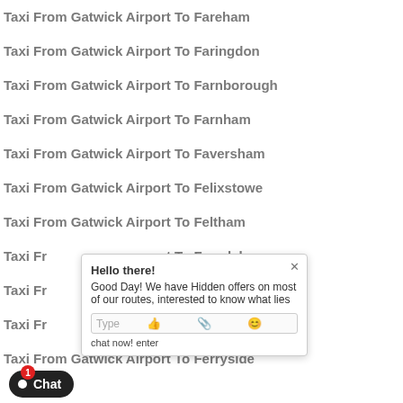Taxi From Gatwick Airport To Fareham
Taxi From Gatwick Airport To Faringdon
Taxi From Gatwick Airport To Farnborough
Taxi From Gatwick Airport To Farnham
Taxi From Gatwick Airport To Faversham
Taxi From Gatwick Airport To Felixstowe
Taxi From Gatwick Airport To Feltham
Taxi From Gatwick Airport To Ferndale
Taxi From Gatwick Airport To Ferndown
Taxi From Gatwick Airport To Ferryhill
Taxi From Gatwick Airport To Ferryside
[Figure (screenshot): Live chat popup overlay with greeting message 'Hello there! Good Day! We have Hidden offers on most of our routes, interested to know what lies' and a Type input bar with icons, plus a 'chat now! enter' label. A dark chat button with notification badge is visible at bottom left.]